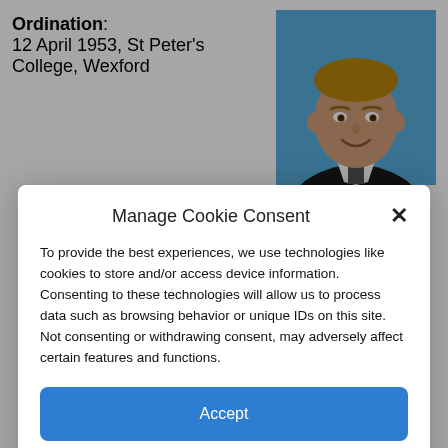Ordination: 12 April 1953, St Peter's College, Wexford
[Figure (photo): Portrait photo of a smiling Catholic priest wearing clerical collar, blue background]
Manage Cookie Consent
To provide the best experiences, we use technologies like cookies to store and/or access device information. Consenting to these technologies will allow us to process data such as browsing behavior or unique IDs on this site. Not consenting or withdrawing consent, may adversely affect certain features and functions.
Accept
Deny
View preferences
Cookie Policy   Privacy Policy